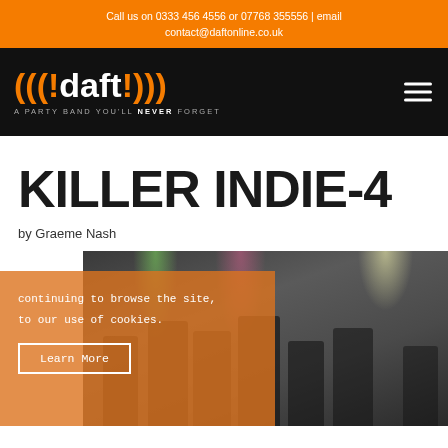Call us on 0333 456 4556 or 07768 355556 | email contact@daftonline.co.uk
[Figure (logo): !daft! logo with orange parentheses and exclamation marks, tagline: A PARTY BAND YOU'LL NEVER FORGET]
KILLER INDIE-4
by Graeme Nash
[Figure (photo): Band photo showing multiple people on stage with stage lighting, partially obscured by cookie consent overlay]
continuing to browse the site, to our use of cookies.
Learn More